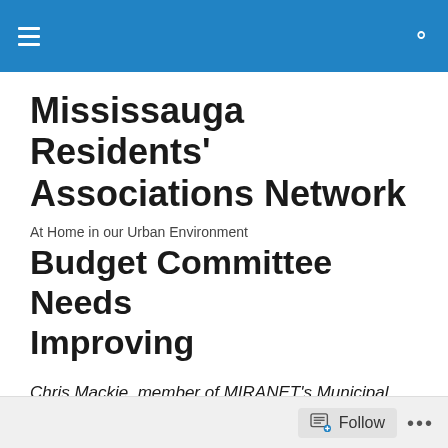Mississauga Residents' Associations Network
Mississauga Residents' Associations Network
At Home in our Urban Environment
Budget Committee Needs Improving
Chris Mackie, member of MIRANET's Municipal Finance Committee reflects on the actions of the City of Mississauga's Budget Committee.
Follow